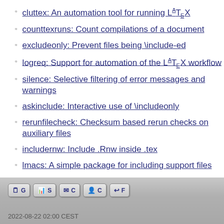cluttex: An automation tool for running LaTeX
counttexruns: Count compilations of a document
excludeonly: Prevent files being \include-ed
logreq: Support for automation of the LaTeX workflow
silence: Selective filtering of error messages and warnings
askinclude: Interactive use of \includeonly
rerunfilecheck: Checksum based rerun checks on auxiliary files
includernw: Include .Rnw inside .tex
lmacs: A simple package for including support files
make-env: Print USPS standard envelopes
graphicscache: Cache includegraphics calls
2022-08-22 02:00 CEST